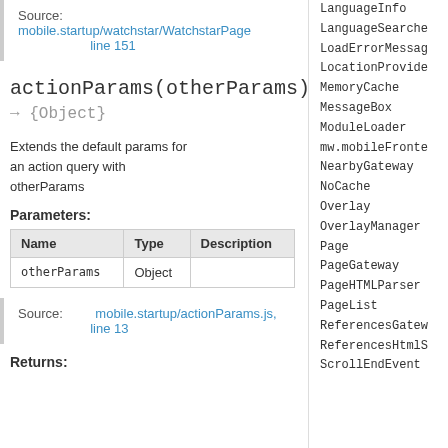Source: mobile.startup/watchstar/WatchstarPage..., line 151
actionParams(otherParams)
→ {Object}
Extends the default params for an action query with otherParams
Parameters:
| Name | Type | Description |
| --- | --- | --- |
| otherParams | Object |  |
Source: mobile.startup/actionParams.js, line 13
Returns:
LanguageInfo
LanguageSearche…
LoadErrorMessag…
LocationProvide…
MemoryCache
MessageBox
ModuleLoader
mw.mobileFronte…
NearbyGateway
NoCache
Overlay
OverlayManager
Page
PageGateway
PageHTMLParser
PageList
ReferencesGatew…
ReferencesHtmlS…
ScrollEndEvent…